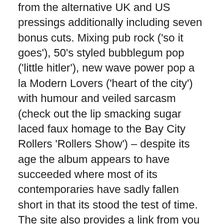from the alternative UK and US pressings additionally including seven bonus cuts. Mixing pub rock ('so it goes'), 50's styled bubblegum pop ('little hitler'), new wave power pop a la Modern Lovers ('heart of the city') with humour and veiled sarcasm (check out the lip smacking sugar laced faux homage to the Bay City Rollers 'Rollers Show') – despite its age the album appears to have succeeded where most of its contemporaries have sadly fallen short in that its stood the test of time. The site also provides a link from you can hear the album streamed in its entirety – well tasty.
Nick Lowe also appears on the cover mounted CD that adorns the festive edition of the Word (#59) with the quite slyly sublime 'I trained her to love me' culled from his 'at my age' full length – which we really must remember to